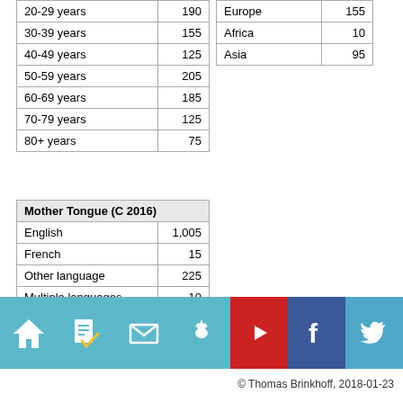| Age group | Count |
| --- | --- |
| 20-29 years | 190 |
| 30-39 years | 155 |
| 40-49 years | 125 |
| 50-59 years | 205 |
| 60-69 years | 185 |
| 70-79 years | 125 |
| 80+ years | 75 |
| Region | Count |
| --- | --- |
| Europe | 155 |
| Africa | 10 |
| Asia | 95 |
| Mother Tongue (C 2016) | Count |
| --- | --- |
| English | 1,005 |
| French | 15 |
| Other language | 225 |
| Multiple languages | 10 |
[Figure (infographic): Footer navigation bar with icons: home, checklist, mail, settings, YouTube (red), Facebook (blue), Twitter (light blue)]
© Thomas Brinkhoff, 2018-01-23